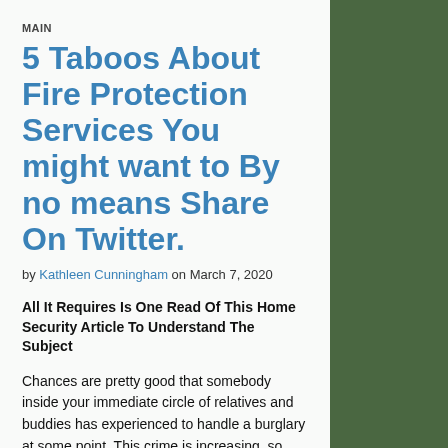MAIN
5 Taboos About Fire Protection Services You might want to By no means Share On Twitter.
by Kathleen Cunningham on March 7, 2020
All It Requires Is One Read Of This Home Security Article To Understand The Subject
Chances are pretty good that somebody inside your immediate circle of relatives and buddies has experienced to handle a burglary at some point. This crime is increasing, so you should make an effort to